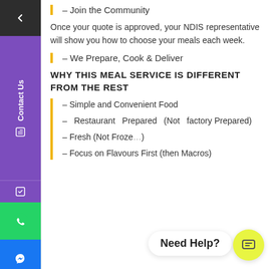– Join the Community
Once your quote is approved, your NDIS representative will show you how to choose your meals each week.
– We Prepare, Cook & Deliver
WHY THIS MEAL SERVICE IS DIFFERENT FROM THE REST
– Simple and Convenient Food
– Restaurant Prepared (Not factory Prepared)
– Fresh (Not Froze…
– Focus on Flavours First (then Macros)